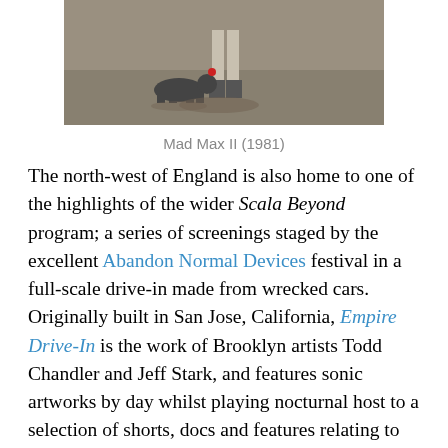[Figure (photo): Partial photograph of a person walking with a dog on a road/pavement, appears to be a film still from Mad Max II (1981), cropped at top]
Mad Max II (1981)
The north-west of England is also home to one of the highlights of the wider Scala Beyond program; a series of screenings staged by the excellent Abandon Normal Devices festival in a full-scale drive-in made from wrecked cars. Originally built in San Jose, California, Empire Drive-In is the work of Brooklyn artists Todd Chandler and Jeff Stark, and features sonic artworks by day whilst playing nocturnal host to a selection of shorts, docs and features relating to cars, urbanity and post-industrial landscapes. And in a landscape of smashed cars, it's only fitting that their screening on Friday August 31 plays host to George Miller's post-apocalyptic sequel spectacular Mad Max II: